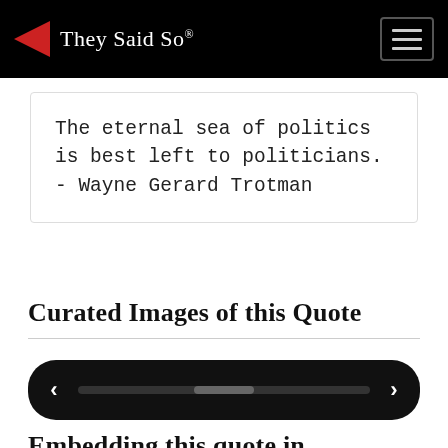They Said So®
The eternal sea of politics is best left to politicians. - Wayne Gerard Trotman
Curated Images of this Quote
[Figure (other): Image carousel with left and right navigation arrows, dark background with a scroll indicator]
Embedding this quote in